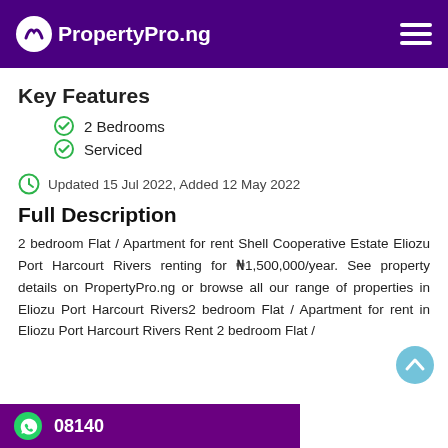PropertyPro.ng
Key Features
2 Bedrooms
Serviced
Updated 15 Jul 2022, Added 12 May 2022
Full Description
2 bedroom Flat / Apartment for rent Shell Cooperative Estate Eliozu Port Harcourt Rivers renting for ₦1,500,000/year. See property details on PropertyPro.ng or browse all our range of properties in Eliozu Port Harcourt Rivers2 bedroom Flat / Apartment for rent in Eliozu Port Harcourt Rivers Rent 2 bedroom Flat /
08140